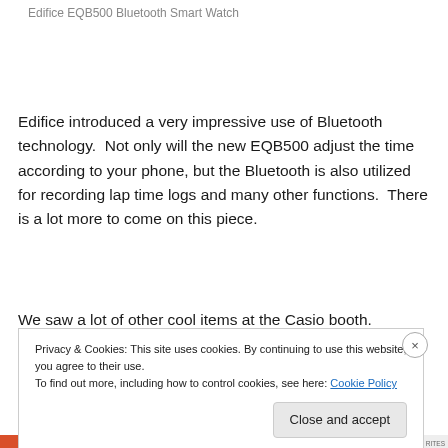Edifice EQB500 Bluetooth Smart Watch
Edifice introduced a very impressive use of Bluetooth technology.  Not only will the new EQB500 adjust the time according to your phone, but the Bluetooth is also utilized for recording lap time logs and many other functions.  There is a lot more to come on this piece.
We saw a lot of other cool items at the Casio booth.
Privacy & Cookies: This site uses cookies. By continuing to use this website, you agree to their use.
To find out more, including how to control cookies, see here: Cookie Policy
Close and accept